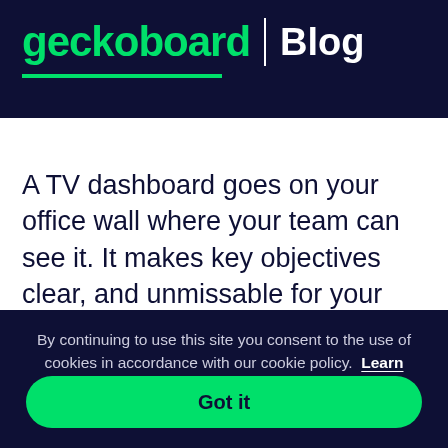geckoboard | Blog
A TV dashboard goes on your office wall where your team can see it. It makes key objectives clear, and unmissable for your team, which reinforces the company's purpose and keeps it front of mind.
By continuing to use this site you consent to the use of cookies in accordance with our cookie policy.  Learn more
Got it